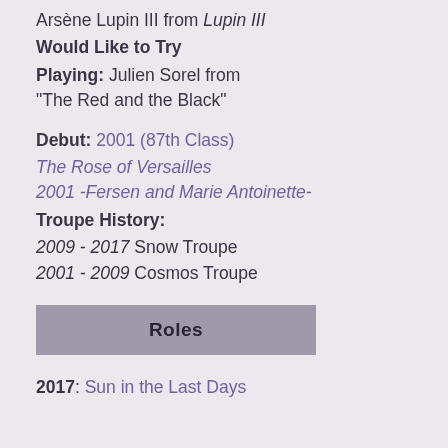Arsène Lupin III from Lupin III
Would Like to Try
Playing: Julien Sorel from "The Red and the Black"
Debut: 2001 (87th Class)
The Rose of Versailles 2001 -Fersen and Marie Antoinette-
Troupe History:
2009 - 2017 Snow Troupe
2001 - 2009 Cosmos Troupe
Roles
2017: Sun in the Last Days of the Shogunate